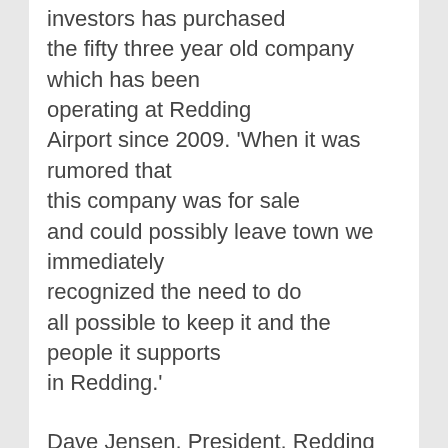investors has purchased the fifty three year old company which has been operating at Redding Airport since 2009. 'When it was rumored that this company was for sale and could possibly leave town we immediately recognized the need to do all possible to keep it and the people it supports in Redding.'
Dave Jensen, President, Redding Distributing Co, will Chair a Board of eight investors including two previous employees of the company. Said Jensen, 'We are excited about this company, their history, and growth so far at Redding Airport. With a strong Board, an